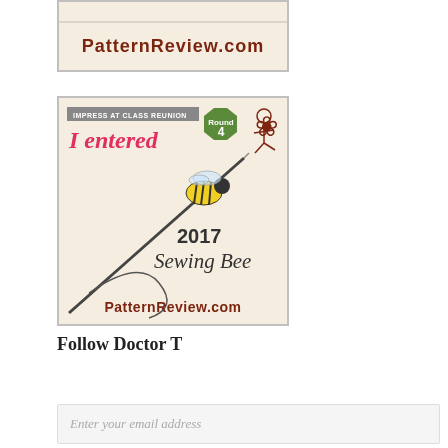[Figure (illustration): PatternReview.com banner top portion showing dark background with website name in bold dark red text]
[Figure (illustration): 2017 Sewing Bee Round 4 badge from PatternReview.com. Cream/beige background with 'IMPRESS AT CLASS REUNION' tag, 'I entered' in pink italic text, a bee on a needle illustration, 'Round 4' green badge, dancer icon, '2017 Sewing Bee' text, and 'PatternReview.com' at bottom in dark red.]
Follow Doctor T
Enter your email address